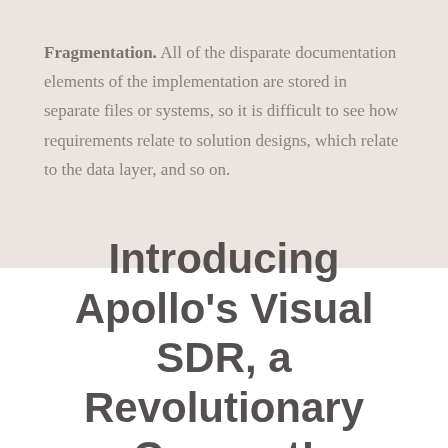Fragmentation. All of the disparate documentation elements of the implementation are stored in separate files or systems, so it is difficult to see how requirements relate to solution designs, which relate to the data layer, and so on.
Introducing Apollo's Visual SDR, a Revolutionary Concept!